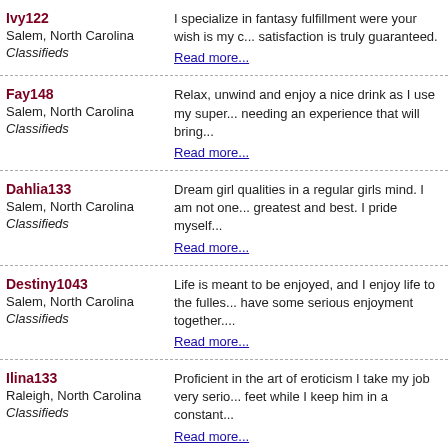Ivy122
Salem, North Carolina
Classifieds
I specialize in fantasy fulfillment were your wish is my c... satisfaction is truly guaranteed.
Read more...
Fay148
Salem, North Carolina
Classifieds
Relax, unwind and enjoy a nice drink as I use my super... needing an experience that will bring...
Read more...
Dahlia133
Salem, North Carolina
Classifieds
Dream girl qualities in a regular girls mind. I am not one... greatest and best. I pride myself...
Read more...
Destiny1043
Salem, North Carolina
Classifieds
Life is meant to be enjoyed, and I enjoy life to the fulles... have some serious enjoyment together....
Read more...
Ilina133
Raleigh, North Carolina
Classifieds
Proficient in the art of eroticism I take my job very serio... feet while I keep him in a constant...
Read more...